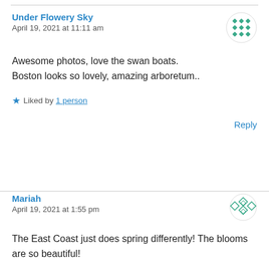Under Flowery Sky
April 19, 2021 at 11:11 am
Awesome photos, love the swan boats.
Boston looks so lovely, amazing arboretum..
Liked by 1 person
Reply
Mariah
April 19, 2021 at 1:55 pm
The East Coast just does spring differently! The blooms are so beautiful!